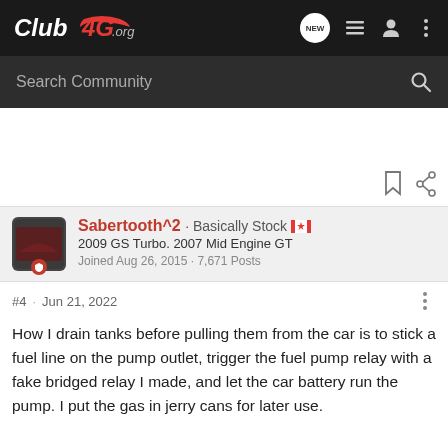Club4G.org — navigation bar with logo and icons
Search Community
Sabertooth^2 · Basically Stock 🇨🇦
2009 GS Turbo. 2007 Mid Engine GT
Joined Aug 26, 2015 · 7,671 Posts
#4 · Jun 21, 2022
How I drain tanks before pulling them from the car is to stick a fuel line on the pump outlet, trigger the fuel pump relay with a fake bridged relay I made, and let the car battery run the pump. I put the gas in jerry cans for later use.